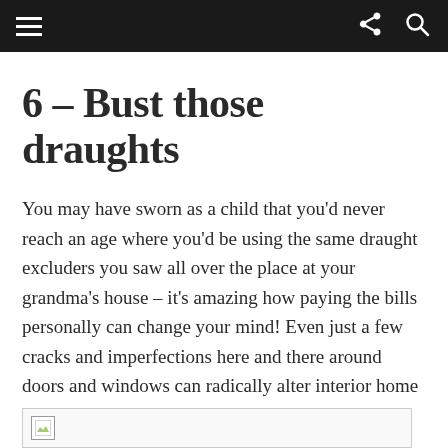6 – Bust those draughts
You may have sworn as a child that you'd never reach an age where you'd be using the same draught excluders you saw all over the place at your grandma's house – it's amazing how paying the bills personally can change your mind! Even just a few cracks and imperfections here and there around doors and windows can radically alter interior home temperatures, so it's in your best interests to get serious with draught-busting.
[Figure (photo): Broken/loading image placeholder at bottom of page]